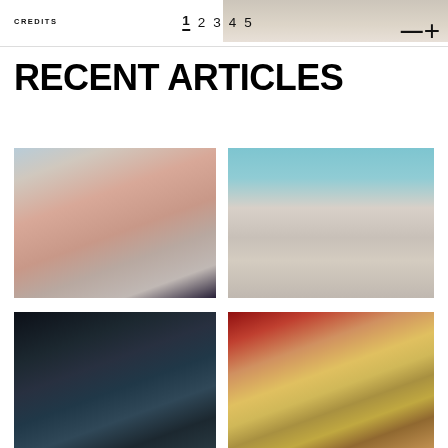[Figure (photo): Partial top photo of a person in light/cream clothing, cropped at top of page]
CREDITS
1 2 3 4 5 — +
RECENT ARTICLES
[Figure (photo): Fashion photo: woman in pink long-sleeve crop top with gathered detail at chest, dark pants, standing against white backdrop]
[Figure (photo): Fashion photo: model wearing ornate printed white coat/suit with turquoise background]
[Figure (photo): Fashion photo: person in white garment with dark hair, dramatic dark background with green elements]
[Figure (photo): Fashion photo: person wearing elaborate costume with green leaf crown and colorful dress, red curtain background with classical interior]